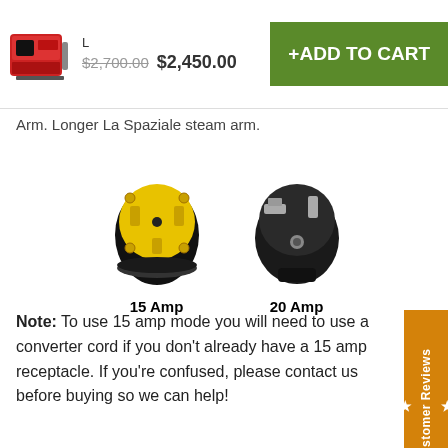[Figure (screenshot): Product header bar showing espresso machine image, size label L, prices $2,700.00 struck through and $2,450.00, and green Add to Cart button]
Arm. Longer La Spaziale steam arm.
[Figure (photo): Two electrical plugs side by side: a yellow 15 Amp plug on the left and a black 20 Amp plug on the right, with labels beneath each]
Note: To use 15 amp mode you will need to use a converter cord if you don't already have a 15 amp receptacle. If you're confused, please contact us before buying so we can help!